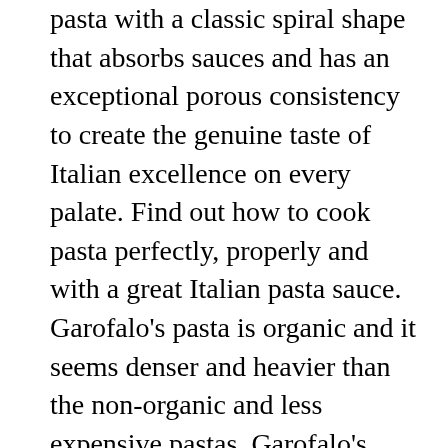pasta with a classic spiral shape that absorbs sauces and has an exceptional porous consistency to create the genuine taste of Italian excellence on every palate. Find out how to cook pasta perfectly, properly and with a great Italian pasta sauce. Garofalo's pasta is organic and it seems denser and heavier than the non-organic and less expensive pastas. Garofalo's pasta is organic and it seems denser and heavier than the non-organic and less expensive pastas. Enjoy low warehouse prices on name-brand Pasta & Noodles products. Cooks in 12 minutes. $18.38 $ 18. Garofalo has created, tanto per Cambiare (just for change), a range selecting the best organic grains with the objective of proposing